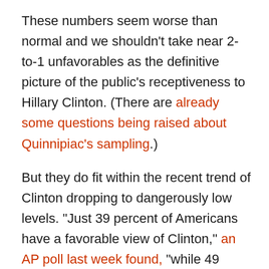These numbers seem worse than normal and we shouldn't take near 2-to-1 unfavorables as the definitive picture of the public's receptiveness to Hillary Clinton. (There are already some questions being raised about Quinnipiac's sampling.)
But they do fit within the recent trend of Clinton dropping to dangerously low levels. "Just 39 percent of Americans have a favorable view of Clinton," an AP poll last week found, "while 49 percent have an unfavorable view, according to the new survey. In an AP-GfK poll conducted at the end of April, 46 percent had a favorable opinion and just 41 percent had an unfavorable opinion of Clinton." (Her support among Democrats declined 11 percentage points, so some of